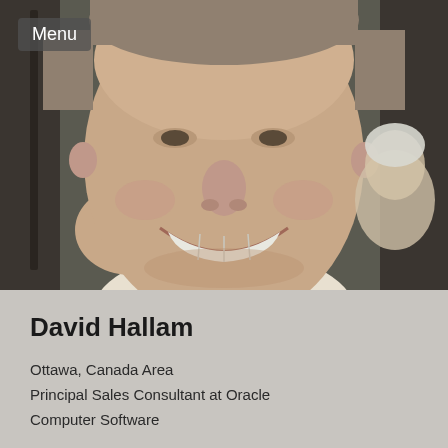[Figure (photo): Headshot photo of a smiling man with short light brown/grey hair, outdoors, with another person visible in the background on the right side. A 'Menu' button overlay is in the top-left corner.]
David Hallam
Ottawa, Canada Area
Principal Sales Consultant at Oracle
Computer Software